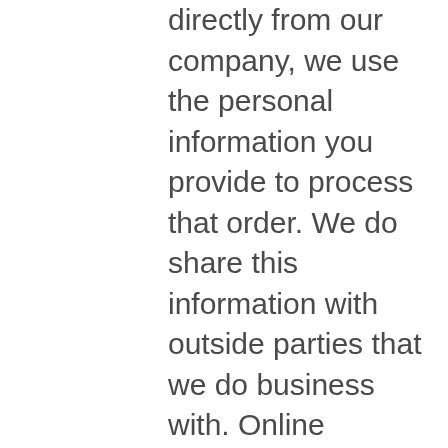directly from our company, we use the personal information you provide to process that order. We do share this information with outside parties that we do business with. Online Advertisements: Our company may display our online advertisements. In those cases we share information about our Visitors and Members collected through the registration process as well as through online surveys and promotions with these advertisers. Additionally, in some instances, we use this information to deliver tailored advertisements or joint ventures. For instance, an advertiser or joint venture company tells us the audience they want to reach and provides us an advertisement tailored to the